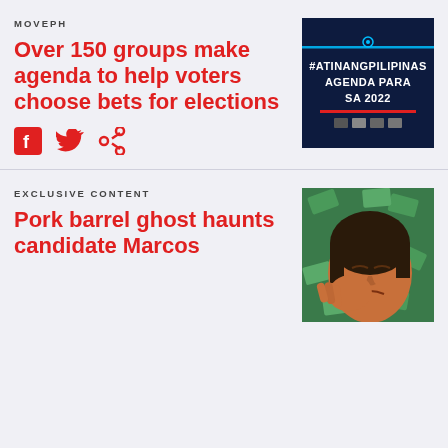MOVEPH
Over 150 groups make agenda to help voters choose bets for elections
[Figure (illustration): Dark navy blue promotional graphic with text '#ATINANGPILIPINAS AGENDA PARA SA 2022' in white bold letters with a red underline accent and small logos at the bottom]
EXCLUSIVE CONTENT
Pork barrel ghost haunts candidate Marcos
[Figure (illustration): Illustration of a person with dark hair looking distressed, surrounded by floating dollar bills on a green background]